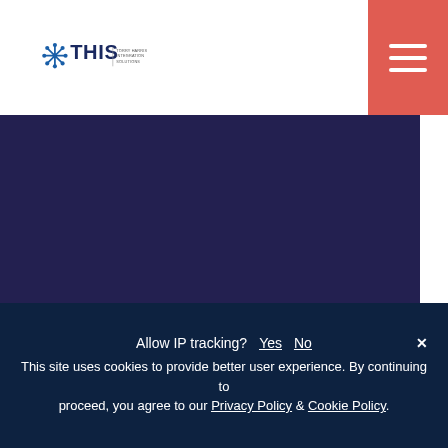[Figure (logo): THIS - Torry Harris Integration Solutions logo with blue asterisk/snowflake icon]
[Figure (illustration): Dark navy purple hero banner background]
Microservices
Allow IP tracking? Yes No ×
This site uses cookies to provide better user experience. By continuing to proceed, you agree to our Privacy Policy & Cookie Policy.